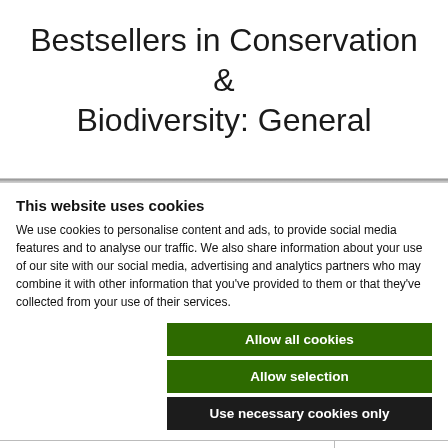Bestsellers in Conservation & Biodiversity: General
This website uses cookies
We use cookies to personalise content and ads, to provide social media features and to analyse our traffic. We also share information about your use of our site with our social media, advertising and analytics partners who may combine it with other information that you've provided to them or that they've collected from your use of their services.
Allow all cookies
Allow selection
Use necessary cookies only
Necessary  Preferences  Statistics  Marketing  Show details